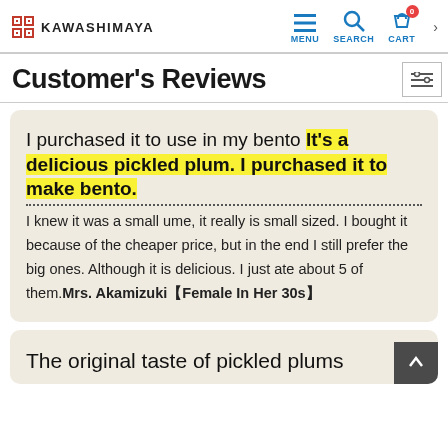KAWASHIMAYA — navigation header with MENU, SEARCH, CART icons
Customer's Reviews
I purchased it to use in my bento It's a delicious pickled plum. I purchased it to make bento. I knew it was a small ume, it really is small sized. I bought it because of the cheaper price, but in the end I still prefer the big ones. Although it is delicious. I just ate about 5 of them.Mrs. Akamizuki【Female In Her 30s】
The original taste of pickled plums